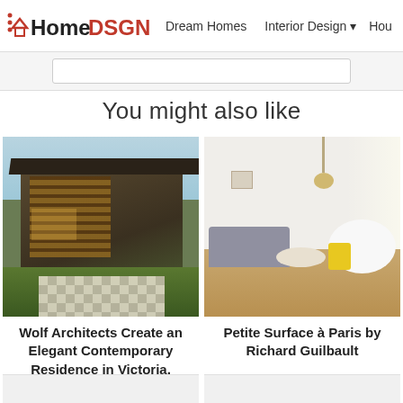HomeDSGN — Dream Homes | Interior Design | Hou...
You might also like
[Figure (photo): Exterior photograph of a contemporary residence with timber cladding, large overhanging roof, and checkered garden path — Wolf Architects, Victoria, Australia]
Wolf Architects Create an Elegant Contemporary Residence in Victoria, Australia
[Figure (photo): Interior photograph of a bright Parisian apartment with Scandinavian-style furniture, grey sofa, white oval coffee table, and yellow accent chair — Petite Surface à Paris by Richard Guilbault]
Petite Surface à Paris by Richard Guilbault